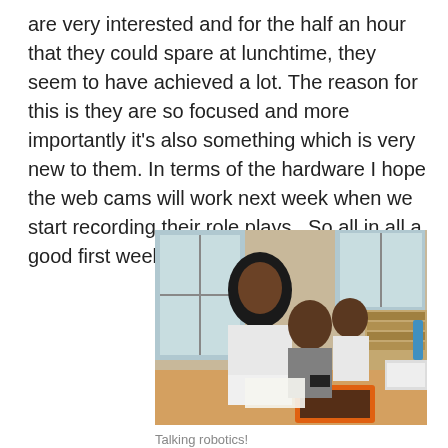are very interested and for the half an hour that they could spare at lunchtime, they seem to have achieved a lot. The reason for this is they are so focused and more importantly it's also something which is very new to them. In terms of the hardware I hope the web cams will work next week when we start recording their role plays.  So all in all a good first week.
[Figure (photo): Three students leaning over a desk working with robotics/LEGO components in a classroom setting. Bookshelves and windows are visible in the background.]
Talking robotics!